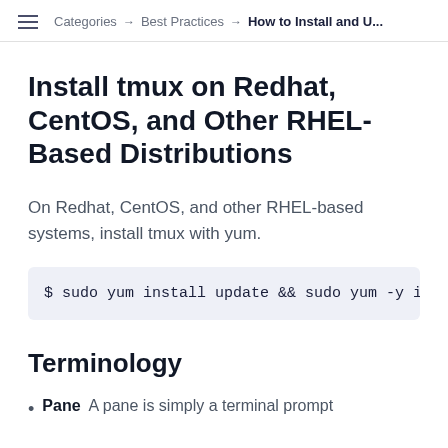Categories → Best Practices → How to Install and U...
Install tmux on Redhat, CentOS, and Other RHEL-Based Distributions
On Redhat, CentOS, and other RHEL-based systems, install tmux with yum.
$ sudo yum install update && sudo yum -y in
Terminology
Pane  A pane is simply a terminal prompt